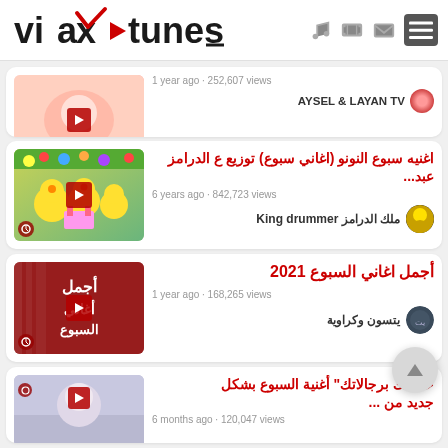vixa tunes
[Figure (screenshot): Partial video card showing thumbnail with baby image, text '1 year ago - 252,607 views' and channel 'AYSEL & LAYAN TV']
[Figure (screenshot): Video card: اغنيه سبوع النونو (اغاني سبوع) توزيع ع الدرامز عبد... | 6 years ago - 842,723 views | ملك الدرامز King drummer]
[Figure (screenshot): Video card: أجمل اغاني السبوع 2021 | 1 year ago - 168,265 views | يتسون وكراوية]
[Figure (screenshot): Partial video card: حلقاتك برجالاتك أغنية السبوع بشكل جديد من... | 6 months ago - 120,047 views]